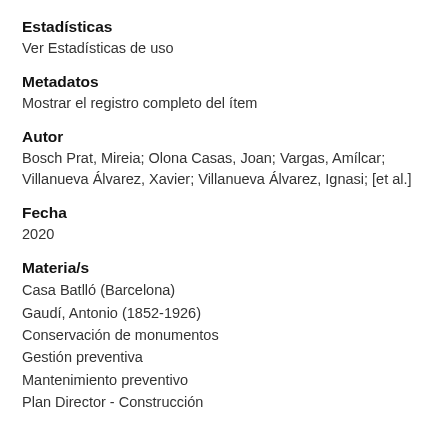Estadísticas
Ver Estadísticas de uso
Metadatos
Mostrar el registro completo del ítem
Autor
Bosch Prat, Mireia; Olona Casas, Joan; Vargas, Amílcar; Villanueva Álvarez, Xavier; Villanueva Álvarez, Ignasi; [et al.]
Fecha
2020
Materia/s
Casa Batlló (Barcelona)
Gaudí, Antonio (1852-1926)
Conservación de monumentos
Gestión preventiva
Mantenimiento preventivo
Plan Director - Construcción